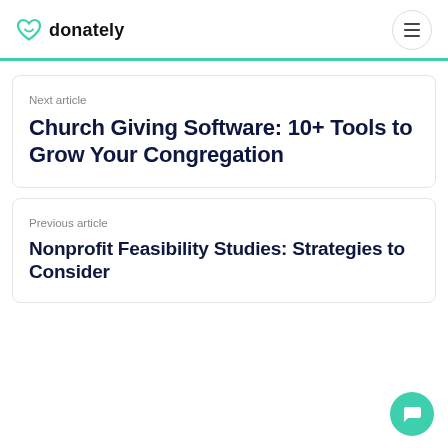donately
Next article
Church Giving Software: 10+ Tools to Grow Your Congregation
Previous article
Nonprofit Feasibility Studies: Strategies to Consider